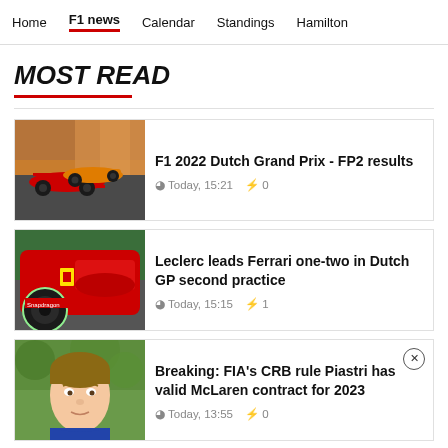Home | F1 news | Calendar | Standings | Hamilton
MOST READ
F1 2022 Dutch Grand Prix - FP2 results | Today, 15:21 | 0 comments
Leclerc leads Ferrari one-two in Dutch GP second practice | Today, 15:15 | 1 comment
Breaking: FIA's CRB rule Piastri has valid McLaren contract for 2023 | Today, 13:55 | 0 comments